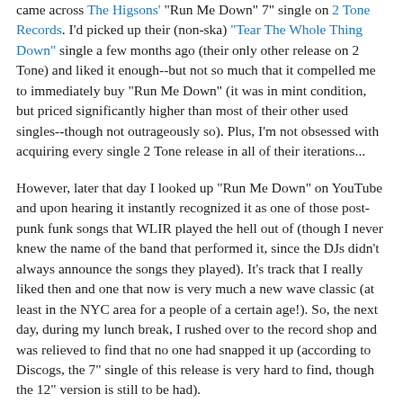came across The Higsons' "Run Me Down" 7" single on 2 Tone Records. I'd picked up their (non-ska) "Tear The Whole Thing Down" single a few months ago (their only other release on 2 Tone) and liked it enough--but not so much that it compelled me to immediately buy "Run Me Down" (it was in mint condition, but priced significantly higher than most of their other used singles--though not outrageously so). Plus, I'm not obsessed with acquiring every single 2 Tone release in all of their iterations...
However, later that day I looked up "Run Me Down" on YouTube and upon hearing it instantly recognized it as one of those post-punk funk songs that WLIR played the hell out of (though I never knew the name of the band that performed it, since the DJs didn't always announce the songs they played). It's track that I really liked then and one that now is very much a new wave classic (at least in the NYC area for a people of a certain age!). So, the next day, during my lunch break, I rushed over to the record shop and was relieved to find that no one had snapped it up (according to Discogs, the 7" single of this release is very hard to find, though the 12" version is still to be had).